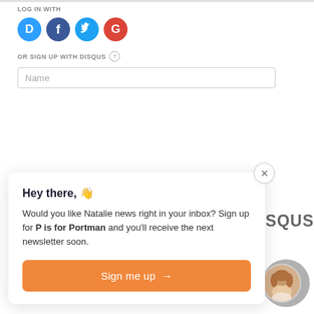LOG IN WITH
[Figure (infographic): Four social login icons: Disqus (blue speech bubble with D), Facebook (dark blue circle with f), Twitter (light blue circle with bird), Google (red circle with G)]
OR SIGN UP WITH DISQUS ?
Name
Hey there, 👋

Would you like Natalie news right in your inbox? Sign up for P is for Portman and you'll receive the next newsletter soon.
Sign me up →
[Figure (other): Partially visible SQUS text (part of Disqus logo/text) and a circular avatar photo of a woman smiling]